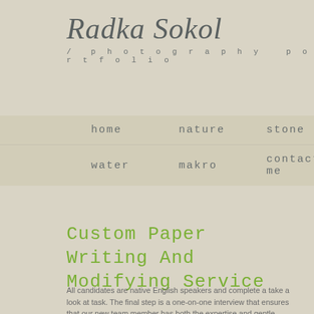Radka Sokol
/ photography portfolio
home
nature
stone
water
makro
contact me
Custom Paper Writing And Modifying Service
All candidates are native English speakers and complete a take a look at task. The final step is a one-on-one interview that ensures that our new team member has both the expertise and gentle